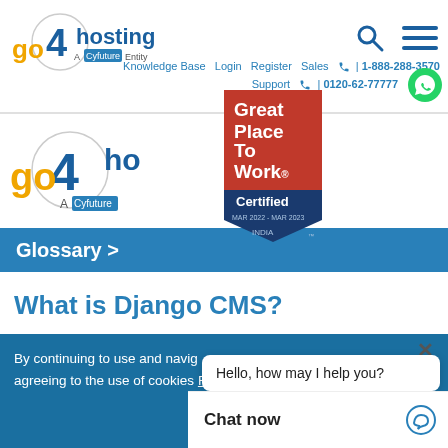[Figure (logo): go4hosting logo with 'A Cyfuture Entity' tagline]
[Figure (logo): Search icon and hamburger menu icon in blue]
Knowledge Base  Login  Register  Sales  📞 | 1-888-288-3570
Support 📞 | 0120-62-77777
[Figure (logo): go4hosting logo secondary (partially behind badge)]
[Figure (other): Great Place To Work Certified MAR 2022 - MAR 2023 INDIA badge]
Glossary >
What is Django CMS?
× Hello, how may I help you?
By continuing to use and navig... agreeing to the use of cookies Find out more.
Chat now